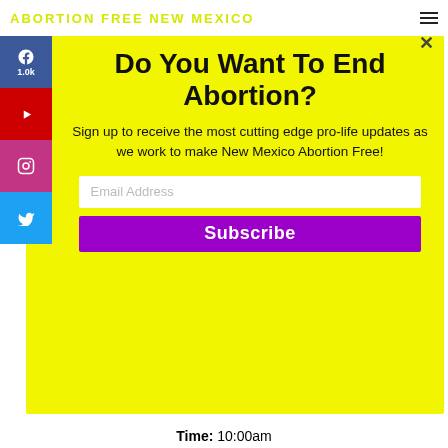ABORTION FREE NEW MEXICO
Do You Want To End Abortion?
Sign up to receive the most cutting edge pro-life updates as we work to make New Mexico Abortion Free!
Email Address
Subscribe
Time: 10:00am